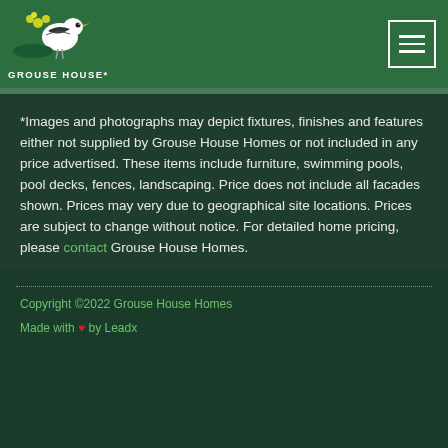[Figure (logo): Grouse House logo with bird illustration and text GROUSE HOUSE*]
*Images and photographs may depict fixtures, finishes and features either not supplied by Grouse House Homes or not included in any price advertised. These items include furniture, swimming pools, pool decks, fences, landscaping. Price does not include all facades shown. Prices may very due to geographical site locations. Prices are subject to change without notice. For detailed home pricing, please contact Grouse House Homes.
Copyright ©2022 Grouse House Homes
Made with ♥ by Leadx